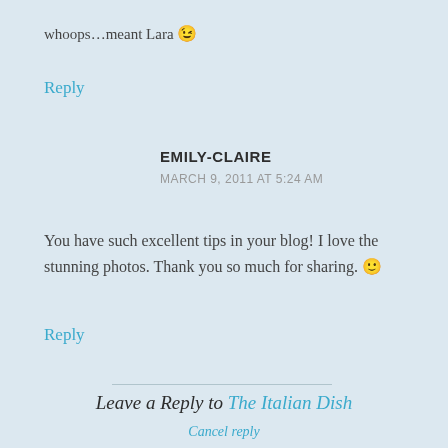whoops...meant Lara 😉
Reply
EMILY-CLAIRE
MARCH 9, 2011 AT 5:24 AM
You have such excellent tips in your blog! I love the stunning photos. Thank you so much for sharing. 🙂
Reply
Leave a Reply to The Italian Dish
Cancel reply